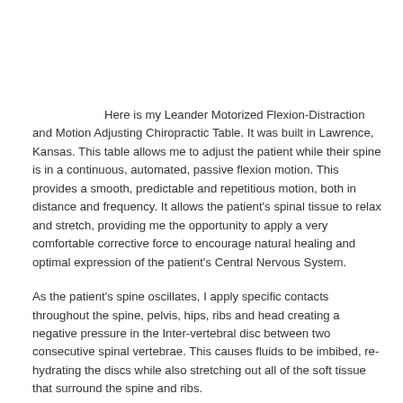Here is my Leander Motorized Flexion-Distraction and Motion Adjusting Chiropractic Table. It was built in Lawrence, Kansas. This table allows me to adjust the patient while their spine is in a continuous, automated, passive flexion motion. This provides a smooth, predictable and repetitious motion, both in distance and frequency. It allows the patient's spinal tissue to relax and stretch, providing me the opportunity to apply a very comfortable corrective force to encourage natural healing and optimal expression of the patient's Central Nervous System.
As the patient's spine oscillates, I apply specific contacts throughout the spine, pelvis, hips, ribs and head creating a negative pressure in the Inter-vertebral disc between two consecutive spinal vertebrae. This causes fluids to be imbibed, re-hydrating the discs while also stretching out all of the soft tissue that surround the spine and ribs.